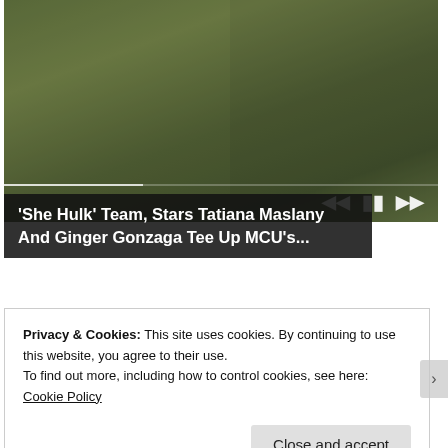[Figure (screenshot): Video player showing two green-skinned She-Hulk characters facing each other with hands raised, outdoors with green foliage background. Video controls (previous, pause, next) visible at bottom right, with a progress bar.]
'She Hulk' Team, Stars Tatiana Maslany And Ginger Gonzaga Tee Up MCU's...
[Figure (photo): Thumbnail image of a busy grocery store interior with shoppers and product shelves, red-shirted employees visible.]
$900 Grocery Allowance For Seniors On Medicare
Privacy & Cookies: This site uses cookies. By continuing to use this website, you agree to their use.
To find out more, including how to control cookies, see here: Cookie Policy
Close and accept